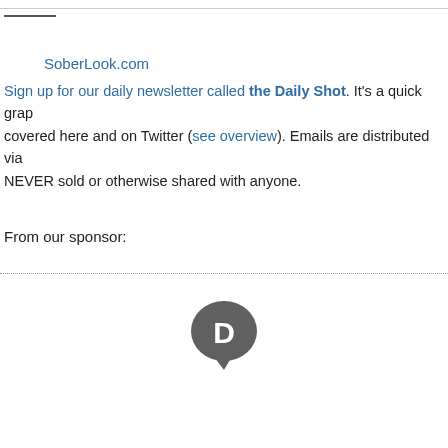SoberLook.com
Sign up for our daily newsletter called the Daily Shot. It's a quick grap covered here and on Twitter (see overview). Emails are distributed via NEVER sold or otherwise shared with anyone.
From our sponsor:
[Figure (logo): Disqus logo — dark grey circular speech bubble with letter D inside]